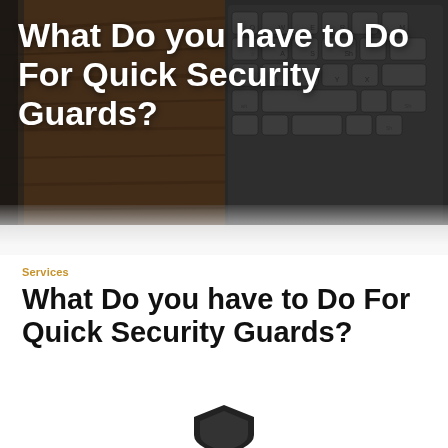[Figure (photo): Split hero image: left half shows a dark wood texture with a notebook/book spine visible; right half shows a dark gray keyboard (Apple/Mac style) with keys visible including Q, A, Sh, Y, X keys and others, on a dark background.]
What Do you have to Do For Quick Security Guards?
Services
What Do you have to Do For Quick Security Guards?
[Figure (illustration): Partial view of a dark shield or logo shape at the bottom of the page.]